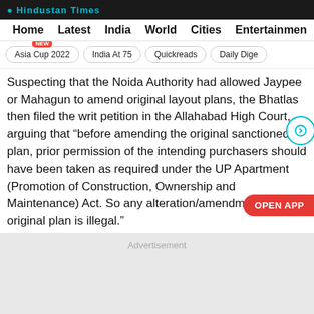Hindustan Times
Home  Latest  India  World  Cities  Entertainment
Asia Cup 2022  NEW  India At 75  Quickreads  Daily Dige
Suspecting that the Noida Authority had allowed Jaypee or Mahagun to amend original layout plans, the Bhatlas then filed the writ petition in the Allahabad High Court, arguing that "before amending the original sanctioned plan, prior permission of the intending purchasers should have been taken as required under the UP Apartment (Promotion of Construction, Ownership and Maintenance) Act. So any alteration/amendment in the original plan is illegal."
[Figure (other): Advertisement placeholder area (grey background)]